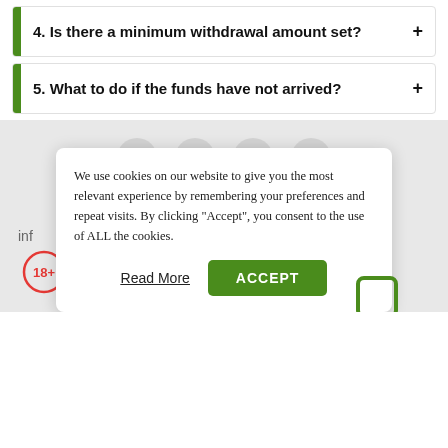4. Is there a minimum withdrawal amount set? +
5. What to do if the funds have not arrived? +
We use cookies on our website to give you the most relevant experience by remembering your preferences and repeat visits. By clicking "Accept", you consent to the use of ALL the cookies.
Read More
ACCEPT